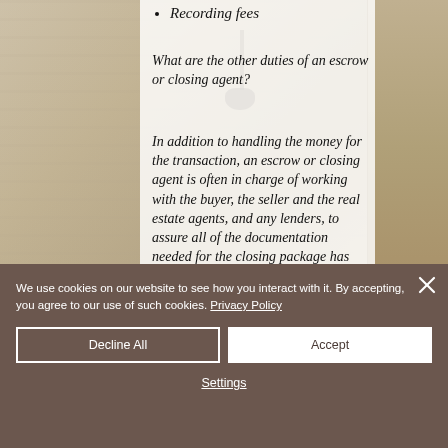[Figure (photo): Background photo of a room with wood plank ceiling and hanging light fixture, with a shelf visible on the right side.]
Recording fees
What are the other duties of an escrow or closing agent?
In addition to handling the money for the transaction, an escrow or closing agent is often in charge of working with the buyer, the seller and the real estate agents, and any lenders, to assure all of the documentation needed for the closing package has been submitted and is complete.
We use cookies on our website to see how you interact with it. By accepting, you agree to our use of such cookies. Privacy Policy
Decline All
Accept
Settings